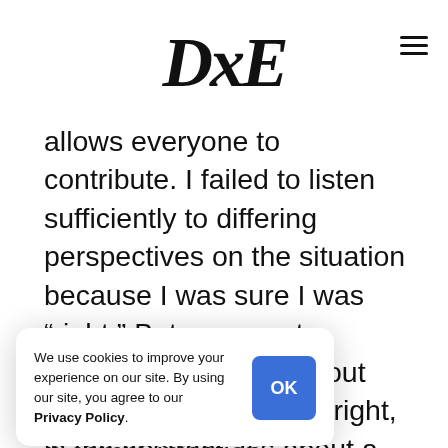DxE
allows everyone to contribute. I failed to listen sufficiently to differing perspectives on the situation because I was sure I was “right.” But grassroots organizing isn’t just about doing or saying what’s right, in the abstract. It’s about a process of determining what’s right for the entire movement and community.  And that process requires everyone, to the greatest extent possible, to feel heard.
st of the parties who was removed, for n communication. gy, and she and her sed DxE members
We use cookies to improve your experience on our site. By using our site, you agree to our Privacy Policy.